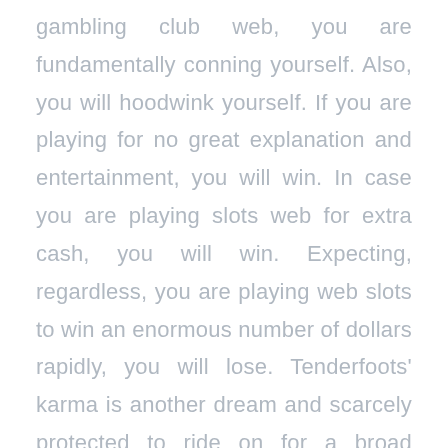gambling club web, you are fundamentally conning yourself. Also, you will hoodwink yourself. If you are playing for no great explanation and entertainment, you will win. In case you are playing slots web for extra cash, you will win. Expecting, regardless, you are playing web slots to win an enormous number of dollars rapidly, you will lose. Tenderfoots' karma is another dream and scarcely protected to ride on for a broad timespan. Play slots web for diversion just and never expect that conning will uphold your